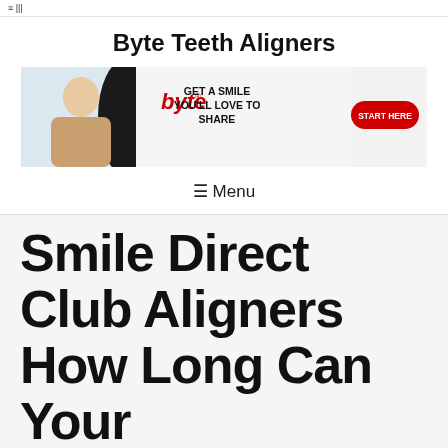≡ |||
Byte Teeth Aligners
[Figure (advertisement): Byte teeth aligners advertisement banner showing a woman smiling, the Byte logo in red italic, tagline 'GET A SMILE YOU'LL LOVE TO SHARE', and a red 'START HERE' button]
≡ Menu
Smile Direct Club Aligners How Long Can Your